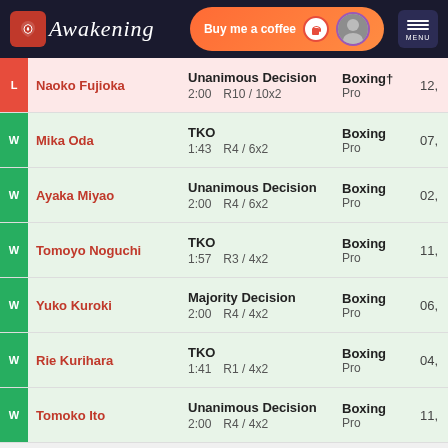Awakening | Buy me a coffee | MENU
| Result | Fighter | Method | Time/Rounds | Sport/Level | Date |
| --- | --- | --- | --- | --- | --- |
| L | Naoko Fujioka | Unanimous Decision | 2:00  R10 / 10x2 | Boxing† Pro | 12, |
| W | Mika Oda | TKO | 1:43  R4 / 6x2 | Boxing Pro | 07, |
| W | Ayaka Miyao | Unanimous Decision | 2:00  R4 / 6x2 | Boxing Pro | 02, |
| W | Tomoyo Noguchi | TKO | 1:57  R3 / 4x2 | Boxing Pro | 11, |
| W | Yuko Kuroki | Majority Decision | 2:00  R4 / 4x2 | Boxing Pro | 06, |
| W | Rie Kurihara | TKO | 1:41  R1 / 4x2 | Boxing Pro | 04, |
| W | Tomoko Ito | Unanimous Decision | 2:00  R4 / 4x2 | Boxing Pro | 11, |